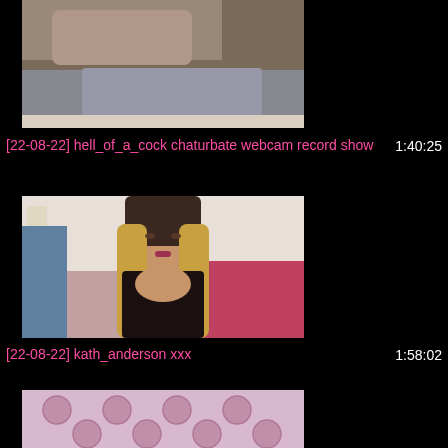[Figure (photo): Video thumbnail showing a close-up webcam recording, partial view]
[22-08-22] hell_of_a_cock chaturbate webcam record show  1:40:25
[Figure (photo): Video thumbnail showing a woman with long blonde hair in black lingerie in front of a pink bed]
[22-08-22] kath_anderson xxx  1:58:02
[Figure (photo): Video thumbnail showing a pink tufted headboard/bed]